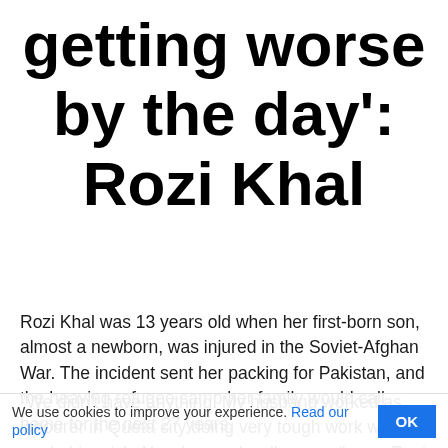getting worse by the day': Rozi Khal
Rozi Khal was 13 years old when her first-born son, almost a newborn, was injured in the Soviet-Afghan War. The incident sent her packing for Pakistan, and the heaving refugee camp her family would call home for the next 27 years.
"We didn't have anything. My husband worked as labourer in Queta city doing very tough work which made him sick. Now he can hardly move," says Rozi